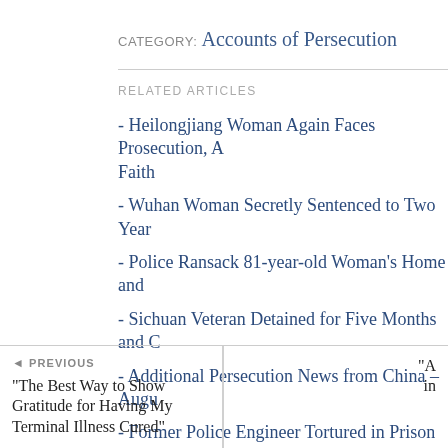CATEGORY: Accounts of Persecution
RELATED ARTICLES
- Heilongjiang Woman Again Faces Prosecution, A Faith
- Wuhan Woman Secretly Sentenced to Two Year
- Police Ransack 81-year-old Woman's Home and
- Sichuan Veteran Detained for Five Months and C
- Additional Persecution News from China – Augu
- Former Police Engineer Tortured in Prison for U
◄ PREVIOUS
"The Best Way to Show Gratitude for Having My Terminal Illness Cured"
"A... in...